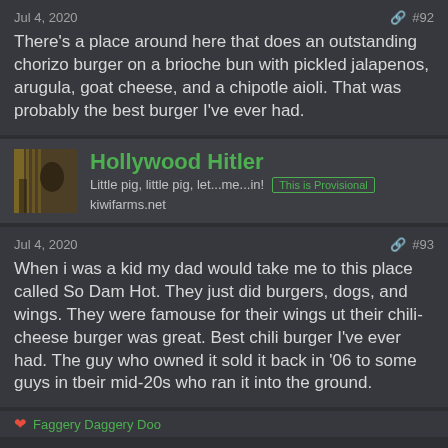Jul 4, 2020   #92
There's a place around here that does an outstanding chorizo burger on a brioche bun with pickled jalapenos, arugula, goat cheese, and a chipotle aioli. That was probably the best burger I've ever had.
Hollywood Hitler
Little pig, little pig, let...me...in!
kiwifarms.net
Jul 4, 2020   #93
When i was a kid my dad would take me to this place called So Dam Hot. They just did burgers, dogs, and wings. They were famouse for their wings ut their chili-cheese burger was great. Best chili burger I've ever had. The guy who owned it sold it back in '06 to some guys in tbeir mid-20s who ran it into the ground.
❤ Faggery Daggery Doo